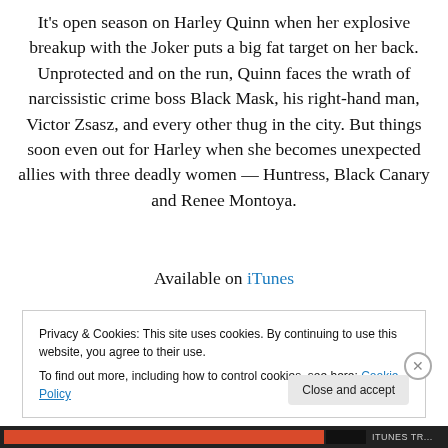It's open season on Harley Quinn when her explosive breakup with the Joker puts a big fat target on her back. Unprotected and on the run, Quinn faces the wrath of narcissistic crime boss Black Mask, his right-hand man, Victor Zsasz, and every other thug in the city. But things soon even out for Harley when she becomes unexpected allies with three deadly women — Huntress, Black Canary and Renee Montoya.
Available on iTunes
Privacy & Cookies: This site uses cookies. By continuing to use this website, you agree to their use.
To find out more, including how to control cookies, see here: Cookie Policy